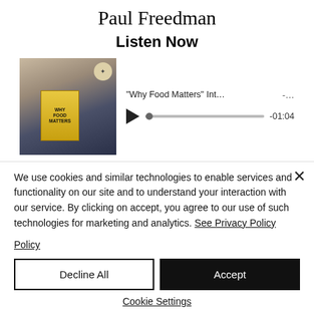Paul Freedman
Listen Now
[Figure (screenshot): Audio player with thumbnail showing a man holding a book. Title: '"Why Food Matters" Int…  -…' with play button and progress bar showing -01:04]
Paul Freedman Interview Notes
In this episode of Eat My Globe, our host, Simon Majumdar, talks to one of our regular
We use cookies and similar technologies to enable services and functionality on our site and to understand your interaction with our service. By clicking on accept, you agree to our use of such technologies for marketing and analytics. See Privacy Policy
Decline All
Accept
Cookie Settings